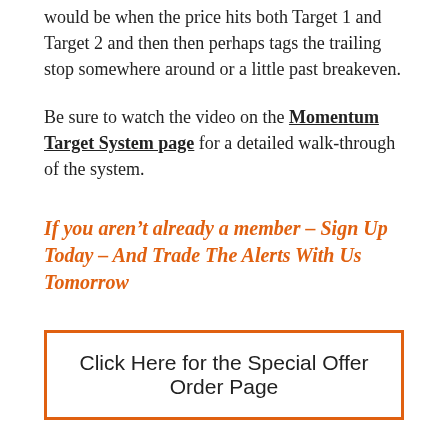would be when the price hits both Target 1 and Target 2 and then then perhaps tags the trailing stop somewhere around or a little past breakeven.
Be sure to watch the video on the Momentum Target System page for a detailed walk-through of the system.
If you aren’t already a member – Sign Up Today – And Trade The Alerts With Us Tomorrow
Click Here for the Special Offer Order Page